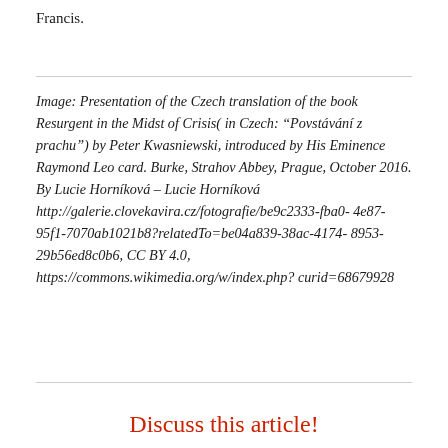Francis.
Image: Presentation of the Czech translation of the book Resurgent in the Midst of Crisis( in Czech: “Povstávání z prachu”) by Peter Kwasniewski, introduced by His Eminence Raymond Leo card. Burke, Strahov Abbey, Prague, October 2016. By Lucie Horníková – Lucie Horníková http://galerie.clovekavira.cz/fotografie/be9c2333-fba0-4e87-95f1-7070ab1021b8?relatedTo=be04a839-38ac-4174-8953-29b56ed8c0b6, CC BY 4.0, https://commons.wikimedia.org/w/index.php?curid=68679928
Discuss this article!